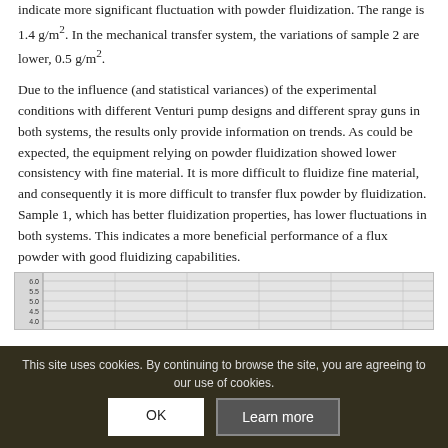indicate more significant fluctuation with powder fluidization. The range is 1.4 g/m². In the mechanical transfer system, the variations of sample 2 are lower, 0.5 g/m².
Due to the influence (and statistical variances) of the experimental conditions with different Venturi pump designs and different spray guns in both systems, the results only provide information on trends. As could be expected, the equipment relying on powder fluidization showed lower consistency with fine material. It is more difficult to fluidize fine material, and consequently it is more difficult to transfer flux powder by fluidization. Sample 1, which has better fluidization properties, has lower fluctuations in both systems. This indicates a more beneficial performance of a flux powder with good fluidizing capabilities.
[Figure (other): Partially visible chart preview at the bottom of the page, obscured by cookie consent overlay. Y-axis labels visible: 6.0, 5.5, 5.0, 4.5, 4.0]